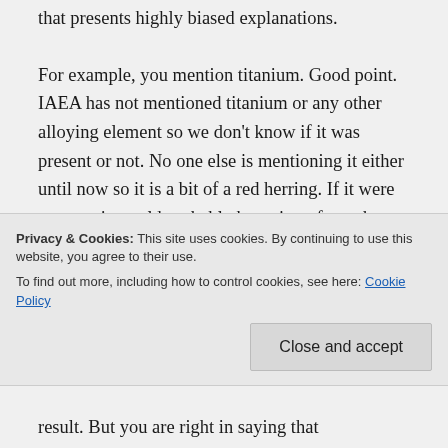that presents highly biased explanations.
For example, you mention titanium. Good point. IAEA has not mentioned titanium or any other alloying element so we don't know if it was present or not. No one else is mentioning it either until now so it is a bit of a red herring. If it were present, it would probably be a sign of a tank-fired armor penetrating munition that needs exceptional strength and hardness to penetrate another tank's armor. But as everyone outside the
Privacy & Cookies: This site uses cookies. By continuing to use this website, you agree to their use.
To find out more, including how to control cookies, see here: Cookie Policy
result. But you are right in saying that